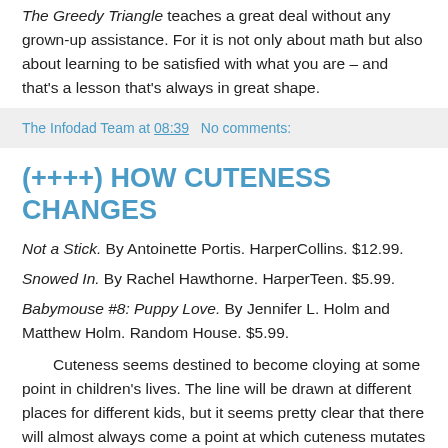The Greedy Triangle teaches a great deal without any grown-up assistance. For it is not only about math but also about learning to be satisfied with what you are – and that's a lesson that's always in great shape.
The Infodad Team at 08:39   No comments:
(++++) HOW CUTENESS CHANGES
Not a Stick. By Antoinette Portis. HarperCollins. $12.99.
Snowed In. By Rachel Hawthorne. HarperTeen. $5.99.
Babymouse #8: Puppy Love. By Jennifer L. Holm and Matthew Holm. Random House. $5.99.
Cuteness seems destined to become cloying at some point in children's lives. The line will be drawn at different places for different kids, but it seems pretty clear that there will almost always come a point at which cuteness mutates